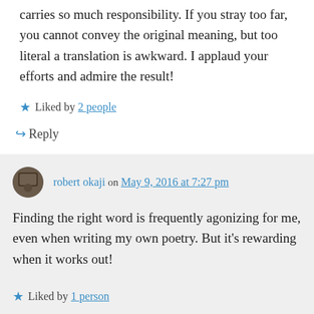carries so much responsibility. If you stray too far, you cannot convey the original meaning, but too literal a translation is awkward. I applaud your efforts and admire the result!
★ Liked by 2 people
↪ Reply
robert okaji on May 9, 2016 at 7:27 pm
Finding the right word is frequently agonizing for me, even when writing my own poetry. But it's rewarding when it works out!
★ Liked by 1 person
↪ Reply